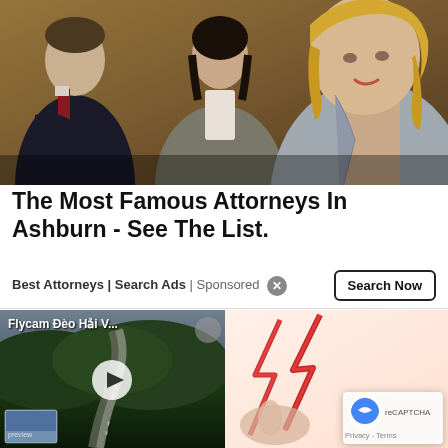[Figure (photo): Three attorneys in formal attire standing in a courtroom or law office setting. Man in dark suit on left with arms crossed, woman in gray blazer in center, blonde woman in light gray blazer on right.]
The Most Famous Attorneys In Ashburn - See The List.
Best Attorneys | Search Ads | Sponsored
[Figure (photo): Video thumbnail showing aerial drone footage of a winding mountain road through dense green forest (Flycam Đèo Hải V...) with a play button overlay and small preview thumbnail.]
[Figure (illustration): Illustration showing red lightning bolts and a hand, likely representing legal/injury themes.]